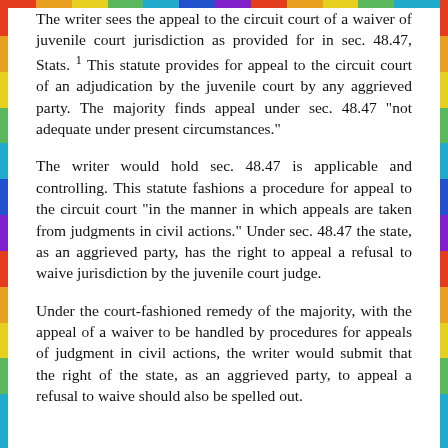The writer sees the appeal to the circuit court of a waiver of juvenile court jurisdiction as provided for in sec. 48.47, Stats. 1 This statute provides for appeal to the circuit court of an adjudication by the juvenile court by any aggrieved party. The majority finds appeal under sec. 48.47 "not adequate under present circumstances."
The writer would hold sec. 48.47 is applicable and controlling. This statute fashions a procedure for appeal to the circuit court "in the manner in which appeals are taken from judgments in civil actions." Under sec. 48.47 the state, as an aggrieved party, has the right to appeal a refusal to waive jurisdiction by the juvenile court judge.
Under the court-fashioned remedy of the majority, with the appeal of a waiver to be handled by procedures for appeals of judgment in civil actions, the writer would submit that the right of the state, as an aggrieved party, to appeal a refusal to waive should also be spelled out.